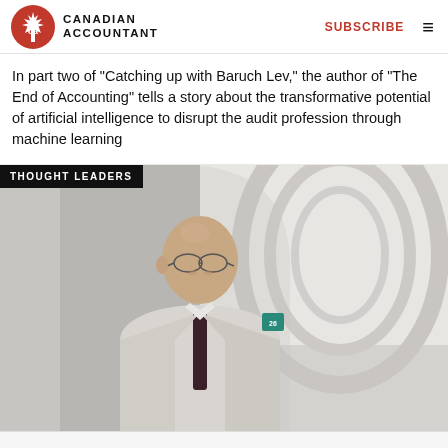CANADIAN ACCOUNTANT — SUBSCRIBE
In part two of "Catching up with Baruch Lev," the author of "The End of Accounting" tells a story about the transformative potential of artificial intelligence to disrupt the audit profession through machine learning
[Figure (photo): Photo of Baruch Lev, an older bald man wearing glasses and a light grey suit with a dark tie, standing in a white arched corridor. Overlaid with a 'THOUGHT LEADERS' badge in the top left.]